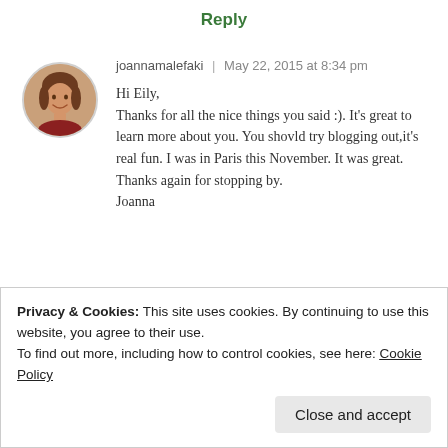Reply
[Figure (photo): Circular avatar photo of a woman smiling, with brown hair]
joannamalefaki | May 22, 2015 at 8:34 pm
Hi Eily,
Thanks for all the nice things you said :). It's great to learn more about you. You shovld try blogging out,it's real fun. I was in Paris this November. It was great. Thanks again for stopping by.
Joanna
★ Like
Privacy & Cookies: This site uses cookies. By continuing to use this website, you agree to their use.
To find out more, including how to control cookies, see here: Cookie Policy
Close and accept